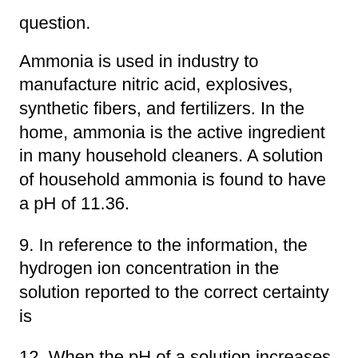question.
Ammonia is used in industry to manufacture nitric acid, explosives, synthetic fibers, and fertilizers. In the home, ammonia is the active ingredient in many household cleaners. A solution of household ammonia is found to have a pH of 11.36.
9. In reference to the information, the hydrogen ion concentration in the solution reported to the correct certainty is
12. When the pH of a solution increases by 2.00, the [H +(aq)] increases by